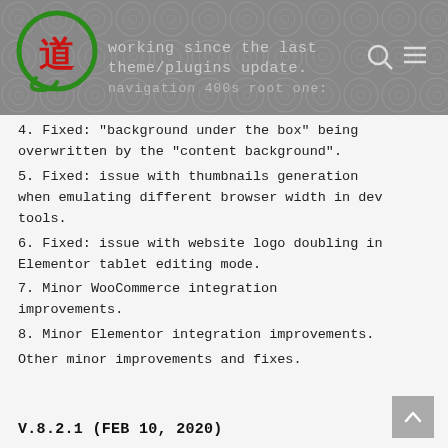working since the last theme/plugins update.
4. Fixed: "background under the box" being overwritten by the "content background".
5. Fixed: issue with thumbnails generation when emulating different browser width in dev tools.
6. Fixed: issue with website logo doubling in Elementor tablet editing mode.
7. Minor WooCommerce integration improvements.
8. Minor Elementor integration improvements.
Other minor improvements and fixes.
V.8.2.1 (Feb 10, 2020)